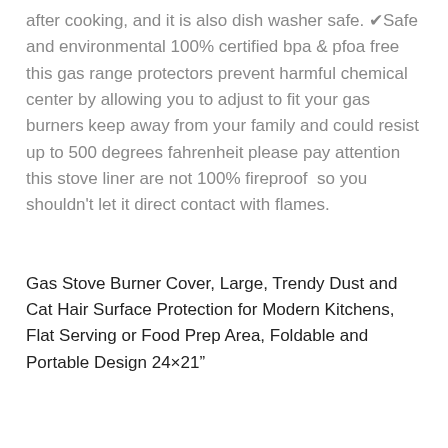after cooking, and it is also dish washer safe. ✔Safe and environmental 100% certified bpa & pfoa free this gas range protectors prevent harmful chemical center by allowing you to adjust to fit your gas burners keep away from your family and could resist up to 500 degrees fahrenheit please pay attention this stove liner are not 100% fireproof so you shouldn't let it direct contact with flames.
Gas Stove Burner Cover, Large, Trendy Dust and Cat Hair Surface Protection for Modern Kitchens, Flat Serving or Food Prep Area, Foldable and Portable Design 24×21"